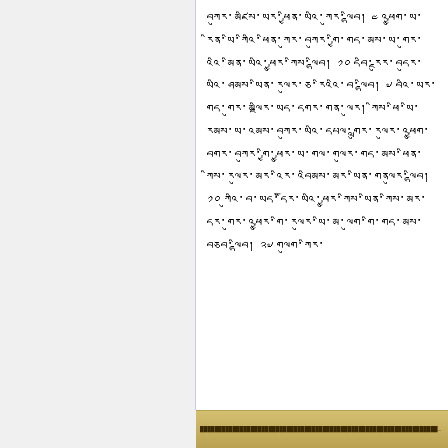Tibetan script text passage
[Figure (other): Bottom banner with yellowish-gold background containing small text, possibly a manuscript or book page header/footer]